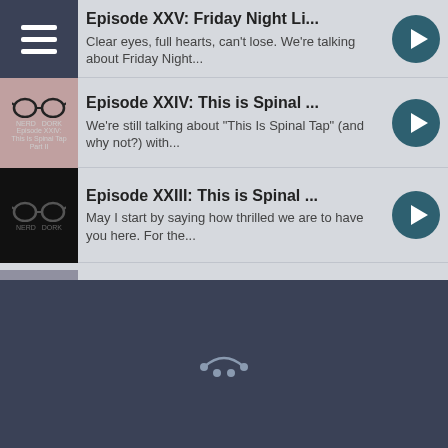Episode XXV: Friday Night Li...
Clear eyes, full hearts, can't lose. We're talking about Friday Night...
Episode XXIV: This is Spinal ...
We're still talking about "This Is Spinal Tap" (and why not?) with...
Episode XXIII: This is Spinal ...
May I start by saying how thrilled we are to have you here. For the...
Episode XXII: "Weird Al" Yank...
We lost on Jeopardy, and the only thing that can make us feel better...
Episode XXI: Weezer
Holy cow, I think we've got a